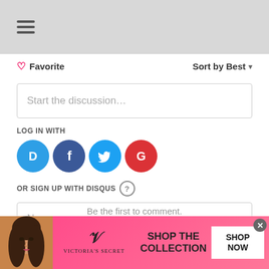[Figure (screenshot): Top gray navigation bar with hamburger menu icon (three horizontal lines)]
❤ Favorite
Sort by Best ▾
Start the discussion…
LOG IN WITH
[Figure (infographic): Four social login buttons: Disqus (blue D), Facebook (blue f), Twitter (blue bird), Google (red G)]
OR SIGN UP WITH DISQUS ?
Name
Be the first to comment.
[Figure (infographic): Victoria's Secret advertisement banner with model photo, VS logo, 'SHOP THE COLLECTION' text, and 'SHOP NOW' button]